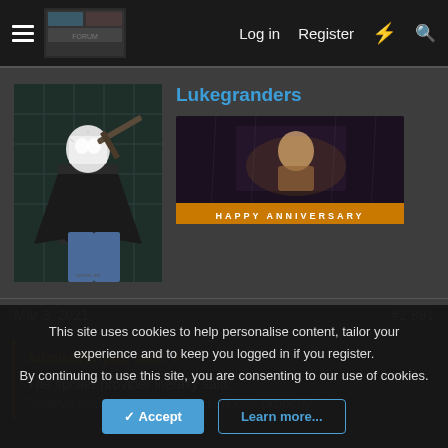Log in  Register
Lukegranders
[Figure (illustration): Comic book style avatar of a masked character with weapons]
[Figure (illustration): Happy Anniversary banner image with game character]
Mar 3, 2021
#2,891
AdmiralKinyagi said:
The spoiler provider literally said:
"Maeve really shows the chicken kick properly..."
This site uses cookies to help personalise content, tailor your experience and to keep you logged in if you register.
By continuing to use this site, you are consenting to our use of cookies.
Accept   Learn more...